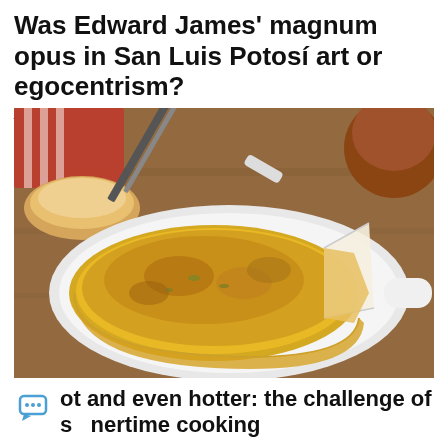Was Edward James' magnum opus in San Luis Potosí art or egocentrism?
August 27
[Figure (photo): A Spanish tortilla (potato omelette) on a white oval plate with a slice cut out, alongside a knife and bread in the background on a wooden surface.]
ot and even hotter: the challenge of s hertime cooking